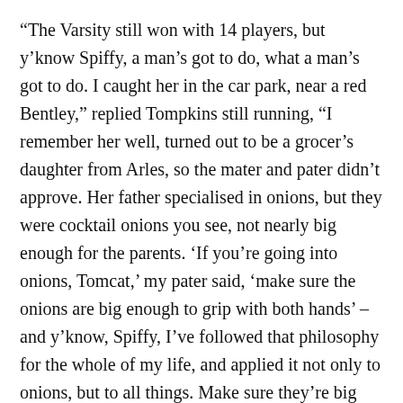“The Varsity still won with 14 players, but y’know Spiffy, a man’s got to do, what a man’s got to do. I caught her in the car park, near a red Bentley,” replied Tompkins still running, “I remember her well, turned out to be a grocer’s daughter from Arles, so the mater and pater didn’t approve. Her father specialised in onions, but they were cocktail onions you see, not nearly big enough for the parents. ‘If you’re going into onions, Tomcat,’ my pater said, ‘make sure the onions are big enough to grip with both hands’ – and y’know, Spiffy, I’ve followed that philosophy for the whole of my life, and applied it not only to onions, but to all things. Make sure they’re big enough to grip with both hands, y’know.”